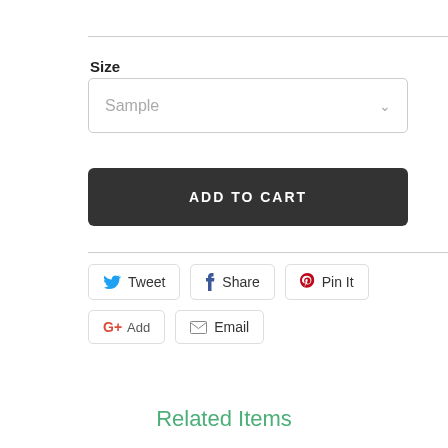Size
[Figure (screenshot): Dropdown selector showing 'Sample' with a chevron/arrow on the right]
[Figure (screenshot): Dark 'ADD TO CART' button]
[Figure (screenshot): Social sharing buttons: Tweet, Share, Pin It, G+ Add, Email]
Related Items